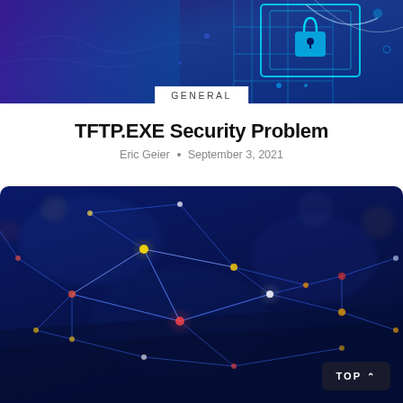[Figure (illustration): Header banner image showing a dark blue digital/cybersecurity theme with circuit board patterns and glowing cyan geometric shapes on a purple-blue background]
GENERAL
TFTP.EXE Security Problem
Eric Geier • September 3, 2021
[Figure (photo): A dark blue network visualization showing interconnected nodes with glowing lines resembling a neural or internet network, with colorful yellow, red and white node points against a deep blue background]